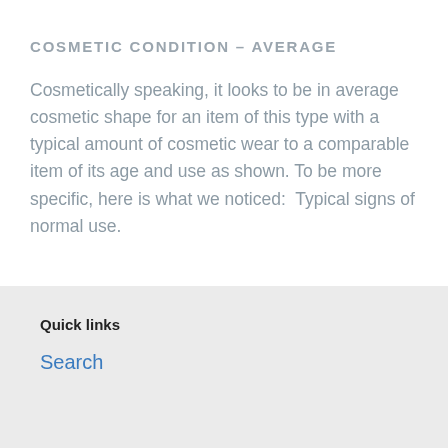COSMETIC CONDITION – AVERAGE
Cosmetically speaking, it looks to be in average cosmetic shape for an item of this type with a typical amount of cosmetic wear to a comparable item of its age and use as shown. To be more specific, here is what we noticed:  Typical signs of normal use.
Quick links
Search